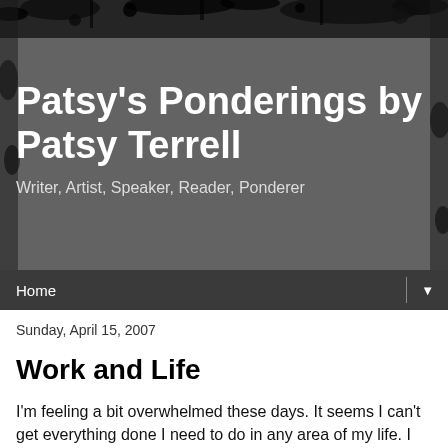[Figure (illustration): Blog header with dark grunge/splattered ink texture background in dark gray tones]
Patsy's Ponderings by Patsy Terrell
Writer, Artist, Speaker, Reader, Ponderer
Home ▼
Sunday, April 15, 2007
Work and Life
I'm feeling a bit overwhelmed these days. It seems I can't get everything done I need to do in any area of my life. I can't even do everything I *want* to do, much less everything I'm *supposed* to do. And I feel overwhelmed enough that I'm practically incapacitated and not getting anything done.